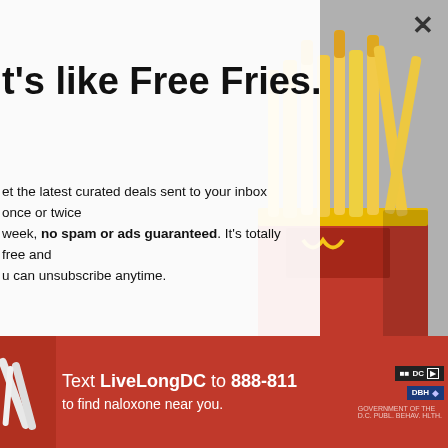t's like Free Fries.
et the latest curated deals sent to your inbox once or twice week, no spam or ads guaranteed. It's totally free and u can unsubscribe anytime.
ur Email
Enter your e-mail...
Join Now
or check out our social networks
[Figure (photo): McDonald's french fries in a red and yellow container, on a grey wooden background]
Text LiveLongDC to 888-811 to find naloxone near you.